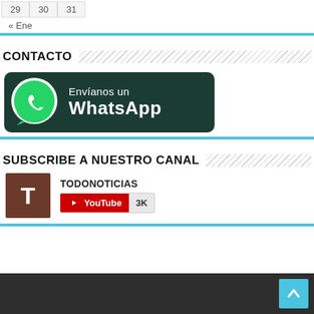29   30   31
« Ene
CONTACTO
[Figure (illustration): WhatsApp button banner with green WhatsApp logo on dark green background, text reads: Envíanos un WhatsApp]
SUBSCRIBE A NUESTRO CANAL
[Figure (other): YouTube channel widget for TODONOTICIAS with brown avatar showing T, YouTube subscribe button in red, and 3K subscriber count]